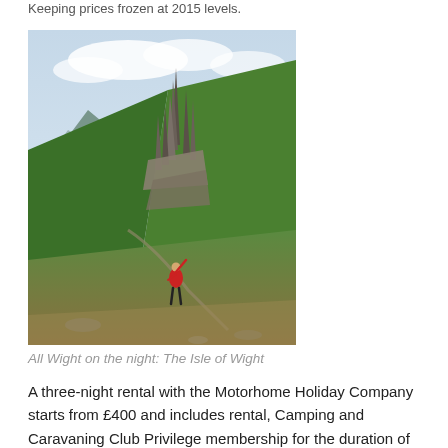Keeping prices frozen at 2015 levels.
[Figure (photo): Landscape photo showing dramatic rocky pinnacles on green hillside with a person in a red jacket standing with arm raised, lake and mountains in background. Isle of Wight / Scottish Highland scenery.]
All Wight on the night: The Isle of Wight
A three-night rental with the Motorhome Holiday Company starts from £400 and includes rental, Camping and Caravaning Club Privilege membership for the duration of